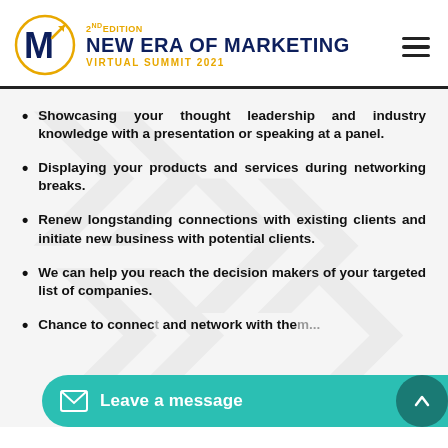[Figure (logo): 2nd Edition New Era of Marketing Virtual Summit 2021 logo with circular M emblem in gold and navy]
Showcasing your thought leadership and industry knowledge with a presentation or speaking at a panel.
Displaying your products and services during networking breaks.
Renew longstanding connections with existing clients and initiate new business with potential clients.
We can help you reach the decision makers of your targeted list of companies.
Chance to connect and network with them...